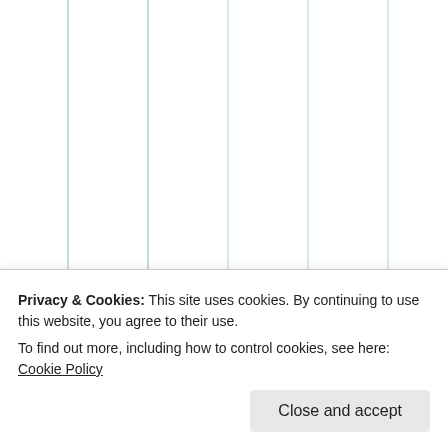[Figure (other): Partial view of a bar chart or table with vertical column lines on a white background, partially obscured by a cookie consent overlay. Right edge shows vertical italic text 'I h o p e s o' in dark color.]
Privacy & Cookies: This site uses cookies. By continuing to use this website, you agree to their use.
To find out more, including how to control cookies, see here: Cookie Policy
Close and accept